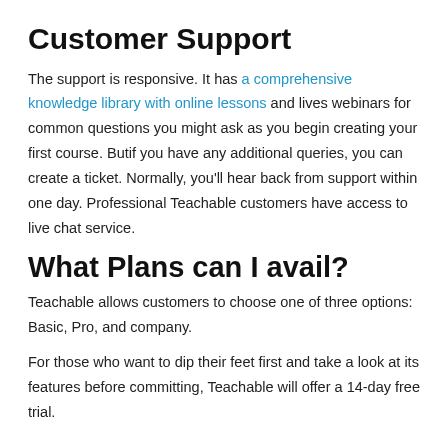Customer Support
The support is responsive. It has a comprehensive knowledge library with online lessons and lives webinars for common questions you might ask as you begin creating your first course. Butif you have any additional queries, you can create a ticket. Normally, you’ll hear back from support within one day. Professional Teachable customers have access to live chat service.
What Plans can I avail?
Teachable allows customers to choose one of three options: Basic, Pro, and company.
For those who want to dip their feet first and take a look at its features before committing, Teachable will offer a 14-day free trial.